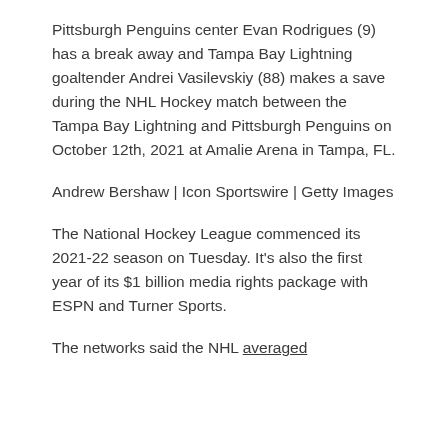Pittsburgh Penguins center Evan Rodrigues (9) has a break away and Tampa Bay Lightning goaltender Andrei Vasilevskiy (88) makes a save during the NHL Hockey match between the Tampa Bay Lightning and Pittsburgh Penguins on October 12th, 2021 at Amalie Arena in Tampa, FL.
Andrew Bershaw | Icon Sportswire | Getty Images
The National Hockey League commenced its 2021-22 season on Tuesday. It’s also the first year of its $1 billion media rights package with ESPN and Turner Sports.
The networks said the NHL averaged